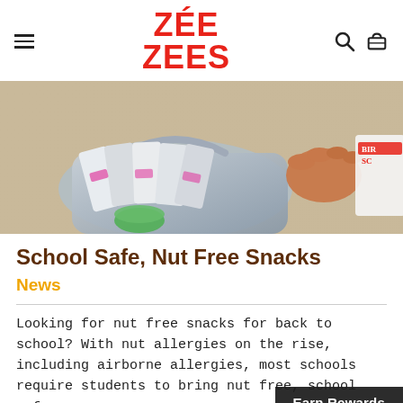ZÉE ZEES
[Figure (photo): Child reaching into a lunch bag filled with Zee Zees snack packages on a wooden table surface]
School Safe, Nut Free Snacks
News
Looking for nut free snacks for back to school? With nut allergies on the rise, including airborne allergies, most schools require students to bring nut free, school safe sn...
Earn Rewards